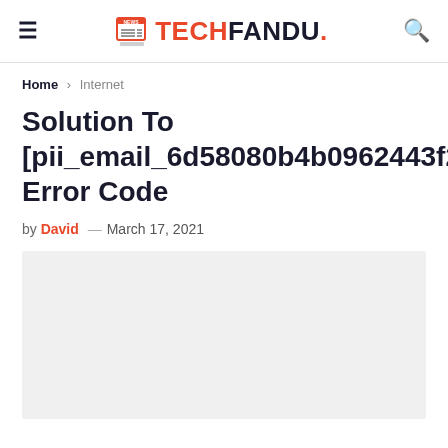TECHFANDU.
Home > Internet
Solution To [pii_email_6d58080b4b0962443f2d] Error Code
by David — March 17, 2021
[Figure (photo): Article featured image placeholder (light gray rectangle)]